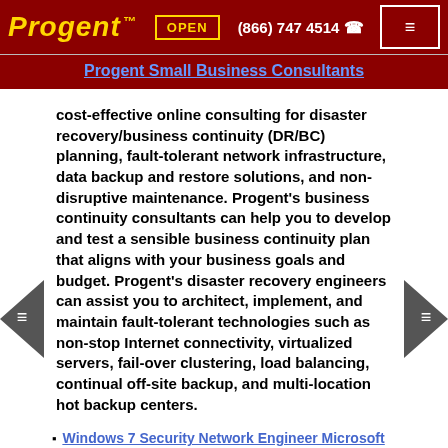Progent ™ | OPEN | (866) 747 4514 | ≡
Progent Small Business Consultants
cost-effective online consulting for disaster recovery/business continuity (DR/BC) planning, fault-tolerant network infrastructure, data backup and restore solutions, and non-disruptive maintenance. Progent's business continuity consultants can help you to develop and test a sensible business continuity plan that aligns with your business goals and budget. Progent's disaster recovery engineers can assist you to architect, implement, and maintain fault-tolerant technologies such as non-stop Internet connectivity, virtualized servers, fail-over clustering, load balancing, continual off-site backup, and multi-location hot backup centers.
Windows 7 Security Network Engineer Microsoft Windows 7 Services
Windows Server 2003 Consultants Consulting Services Windows Server 2003
Wireless Network Consulting Urgent 802.11ac Wireless